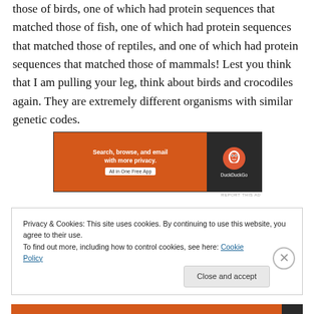those of birds, one of which had protein sequences that matched those of fish, one of which had protein sequences that matched those of reptiles, and one of which had protein sequences that matched those of mammals! Lest you think that I am pulling your leg, think about birds and crocodiles again. They are extremely different organisms with similar genetic codes.
[Figure (infographic): DuckDuckGo advertisement banner: orange left side with text 'Search, browse, and email with more privacy. All in One Free App' and dark right side with DuckDuckGo logo and name.]
Privacy & Cookies: This site uses cookies. By continuing to use this website, you agree to their use.
To find out more, including how to control cookies, see here: Cookie Policy